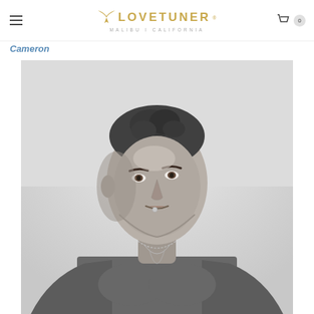LOVETUNER MALIBU I CALIFORNIA
Cameron
[Figure (photo): Black and white portrait photograph of a shirtless muscular man with short dark hair, looking upward to the right, with a small piercing at his lip and a thin chain necklace. Background is light/sky.]